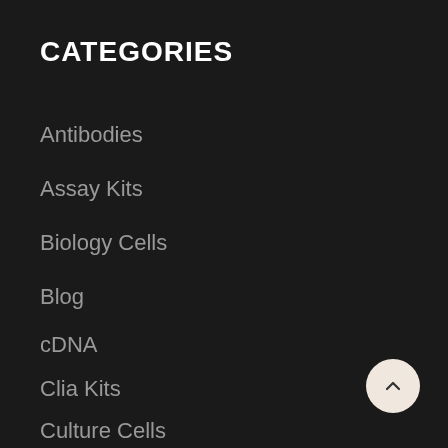CATEGORIES
Antibodies
Assay Kits
Biology Cells
Blog
cDNA
Clia Kits
Culture Cells
Devices